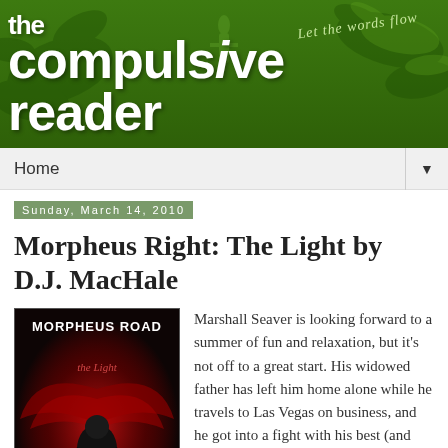[Figure (logo): The Compulsive Reader blog banner with green background, decorative swirls, white bold text reading 'the compulsive reader', and italic tagline 'Let the words flow']
Home ▼
Sunday, March 14, 2010
Morpheus Right: The Light by D.J. MacHale
[Figure (photo): Book cover for Morpheus Road: The Light, showing a dark cloaked figure with red background and wing-like shapes]
Marshall Seaver is looking forward to a summer of fun and relaxation, but it's not off to a great start. His widowed father has left him home alone while he travels to Las Vegas on business, and he got into a fight with his best (and only) friend...